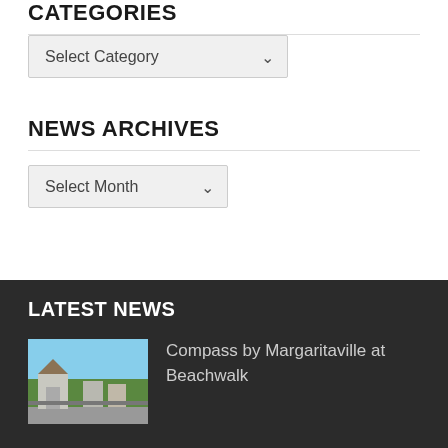CATEGORIES
Select Category
NEWS ARCHIVES
Select Month
LATEST NEWS
Compass by Margaritaville at Beachwalk